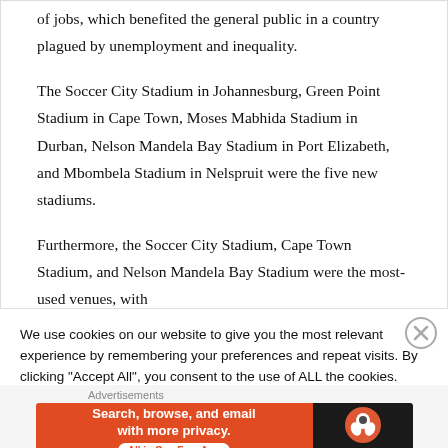of jobs, which benefited the general public in a country plagued by unemployment and inequality.
The Soccer City Stadium in Johannesburg, Green Point Stadium in Cape Town, Moses Mabhida Stadium in Durban, Nelson Mandela Bay Stadium in Port Elizabeth, and Mbombela Stadium in Nelspruit were the five new stadiums.
Furthermore, the Soccer City Stadium, Cape Town Stadium, and Nelson Mandela Bay Stadium were the most-used venues, with
We use cookies on our website to give you the most relevant experience by remembering your preferences and repeat visits. By clicking "Accept All", you consent to the use of ALL the cookies. However, you may visit "Cookie Settings" to provide a controlled consent.
Advertisements
[Figure (infographic): DuckDuckGo advertisement banner: orange left side with text 'Search, browse, and email with more privacy. All in One Free App' and dark right side with DuckDuckGo logo and text 'DuckDuckGo']